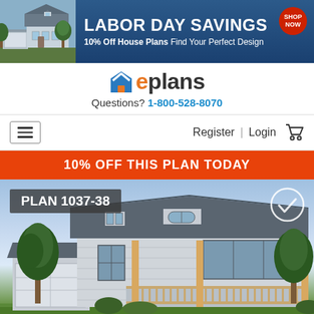[Figure (screenshot): Labor Day Savings banner ad: dark blue background with house photo on left, bold white text 'LABOR DAY SAVINGS', subtext '10% Off House Plans Find Your Perfect Design', red Shop Now badge top right]
[Figure (logo): eplans.com logo with blue house icon and orange 'e' letter, dark text 'plans']
Questions? 1-800-528-8070
[Figure (screenshot): Navigation bar with hamburger menu icon on left, Register | Login text and cart icon on right]
10% OFF THIS PLAN TODAY
[Figure (photo): House plan photo labeled 'PLAN 1037-38' showing a craftsman-style two-story home with garage, front porch with wooden columns, dormers, and landscaping. Check circle icon in top right.]